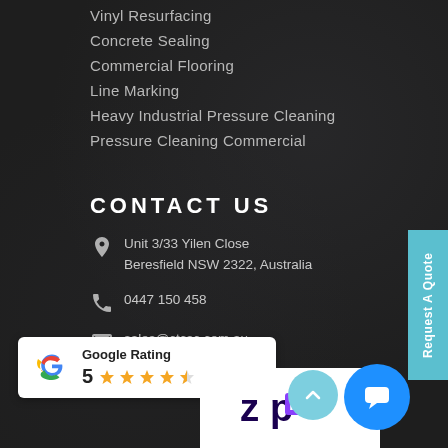Vinyl Resurfacing
Concrete Sealing
Commercial Flooring
Line Marking
Heavy Industrial Pressure Cleaning
Pressure Cleaning Commercial
CONTACT US
Unit 3/33 Yilen Close
Beresfield NSW 2322, Australia
0447 150 458
sales@ctcsc.com.au
www.coasttocountryspecialisedcoatings.com.au
Request A Quote
[Figure (logo): Google Rating badge showing 5 stars and Google G logo]
[Figure (logo): Zip payment logo]